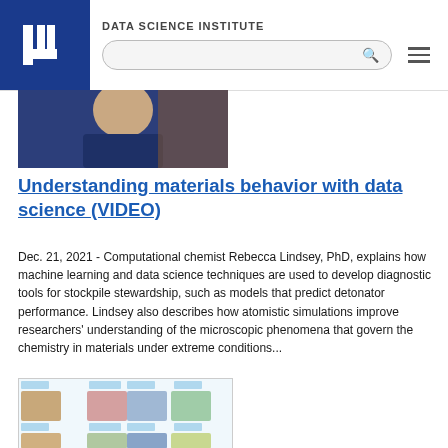DATA SCIENCE INSTITUTE
[Figure (photo): Partial view of a person (likely Rebecca Lindsey) wearing navy blue clothing, upper body and face cropped]
Understanding materials behavior with data science (VIDEO)
Dec. 21, 2021 - Computational chemist Rebecca Lindsey, PhD, explains how machine learning and data science techniques are used to develop diagnostic tools for stockpile stewardship, such as models that predict detonator performance. Lindsey also describes how atomistic simulations improve researchers' understanding of the microscopic phenomena that govern the chemistry in materials under extreme conditions...
[Figure (photo): Grid of headshot photos of researchers arranged in rows, showing multiple people associated with LLNL or related institutions]